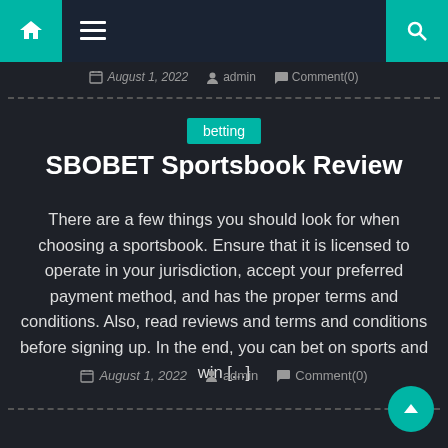Navigation bar with home, menu, and search icons
August 1, 2022  admin  Comment(0)
betting
SBOBET Sportsbook Review
There are a few things you should look for when choosing a sportsbook. Ensure that it is licensed to operate in your jurisdiction, accept your preferred payment method, and has the proper terms and conditions. Also, read reviews and terms and conditions before signing up. In the end, you can bet on sports and win [...]
August 1, 2022  admin  Comment(0)